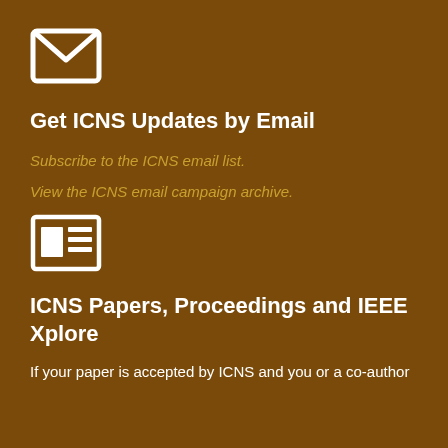[Figure (illustration): White envelope/mail icon on brown background]
Get ICNS Updates by Email
Subscribe to the ICNS email list.
View the ICNS email campaign archive.
[Figure (illustration): White newspaper/article icon on brown background]
ICNS Papers, Proceedings and IEEE Xplore
If your paper is accepted by ICNS and you or a co-author present at the ICNS conference, you will be...